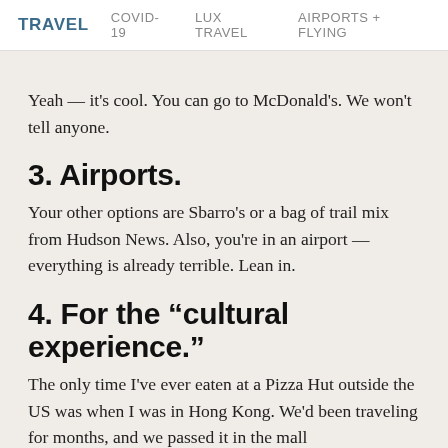TRAVEL  COVID-19  LUX TRAVEL  AIRPORTS + FLYING
Yeah — it's cool. You can go to McDonald's. We won't tell anyone.
3. Airports.
Your other options are Sbarro's or a bag of trail mix from Hudson News. Also, you're in an airport — everything is already terrible. Lean in.
4. For the “cultural experience.”
The only time I've ever eaten at a Pizza Hut outside the US was when I was in Hong Kong. We'd been traveling for months, and we passed it in the mall